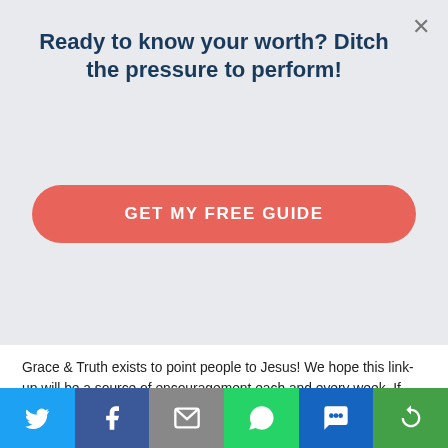Ready to know your worth? Ditch the pressure to perform!
GET MY FREE GUIDE
LINK-UP
Grace & Truth exists to point people to Jesus! We hope this link-up will be a source of encouragement each and every week. If you're a blogger our hope is that you'll use this space as a way to meet new friends within the Christian blogging community. If you're a reader our hope is that you'll meet new bloggers that love Jesus just as much as you do! Most of all, we hope you'll meet Jesus here.
Share bar: Twitter, Facebook, Email, WhatsApp, SMS, More